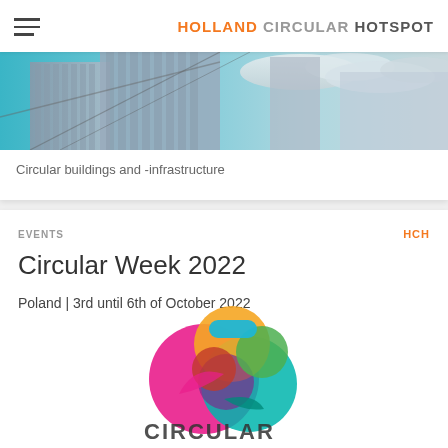HOLLAND CIRCULAR HOTSPOT
[Figure (photo): Aerial/upward view of modern building architecture with blue sky and clouds]
Circular buildings and -infrastructure
EVENTS
HCH
Circular Week 2022
Poland | 3rd until 6th of October 2022
[Figure (logo): Circular Week colorful logo with overlapping multicolored shapes and text CIRCULAR at bottom]